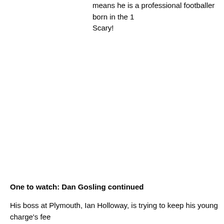means he is a professional footballer born in the 1990s. Scary!
One to watch: Dan Gosling continued
His boss at Plymouth, Ian Holloway, is trying to keep his young charge's feet on the ground. In a relatively sober quote, he said: "It's the first rung on the ladder that we hope he will climb all the way to the top. If he keeps working hard, h